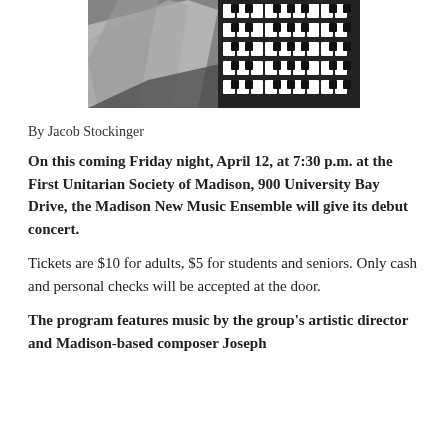[Figure (photo): Black and white photo of a person with light hair partially visible, with a keyboard/organ instrument on the right side of the frame.]
By Jacob Stockinger
On this coming Friday night, April 12, at 7:30 p.m. at the First Unitarian Society of Madison, 900 University Bay Drive, the Madison New Music Ensemble will give its debut concert.
Tickets are $10 for adults, $5 for students and seniors. Only cash and personal checks will be accepted at the door.
The program features music by the group's artistic director and Madison-based composer Joseph